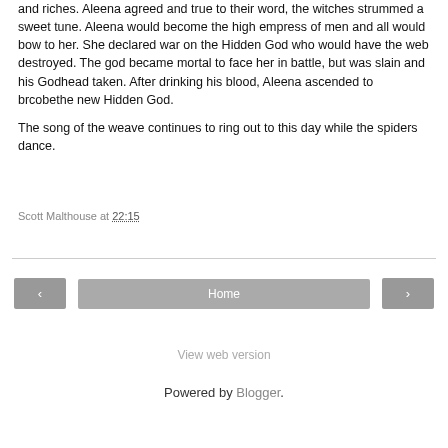and riches. Aleena agreed and true to their word, the witches strummed a sweet tune. Aleena would become the high empress of men and all would bow to her. She declared war on the Hidden God who would have the web destroyed. The god became mortal to face her in battle, but was slain and his Godhead taken. After drinking his blood, Aleena ascended to brcobethe new Hidden God.

The song of the weave continues to ring out to this day while the spiders dance.
Scott Malthouse at 22:15
Share
‹
Home
›
View web version
Powered by Blogger.